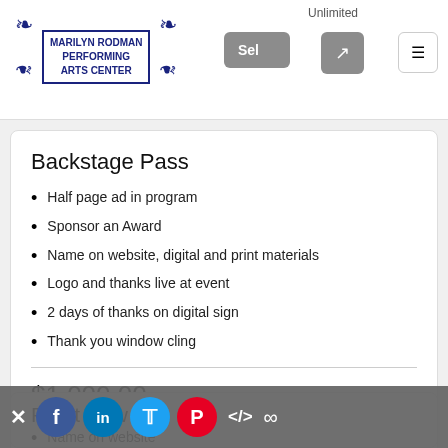[Figure (logo): Marilyn Rodman Performing Arts Center logo with decorative wings and text]
Backstage Pass
Half page ad in program
Sponsor an Award
Name on website, digital and print materials
Logo and thanks live at event
2 days of thanks on digital sign
Thank you window cling
$1,000.00
Unlimited
Select
Front Row
Name on website
Name recognition at event